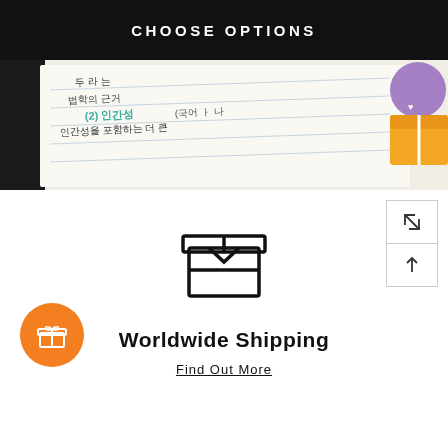CHOOSE OPTIONS
[Figure (photo): Photo of a notebook with Korean handwritten text and notes, with a decorative gift box illustration visible on the right edge.]
[Figure (illustration): Package/shipping box icon — line art of an open cardboard box]
Worldwide Shipping
Find Out More